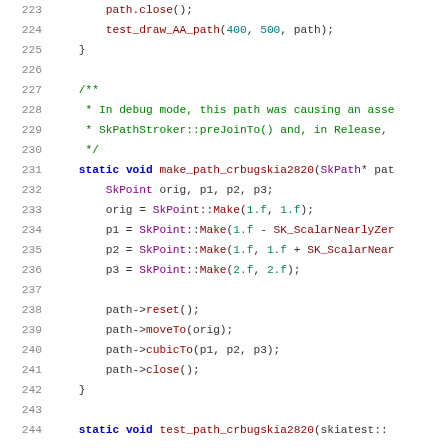[Figure (screenshot): Source code listing lines 223-244, C++ code for path drawing and SkPoint operations, with syntax highlighting. Functions include path.close(), test_draw_AA_path(), make_path_crbugskia2820(), and test_path_crbugskia2820().]